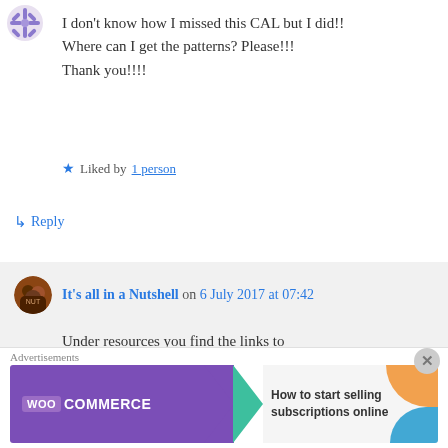[Figure (illustration): Small decorative snowflake/flower avatar icon in blue/purple at top left]
I don't know how I missed this CAL but I did!! Where can I get the patterns? Please!!! Thank you!!!!
Liked by 1 person
Reply
It's all in a Nutshell on 6 July 2017 at 07:42
Under resources you find the links to everything you need.
Like
Advertisements
[Figure (illustration): WooCommerce advertisement banner with purple background, green arrow, and text 'How to start selling subscriptions online']